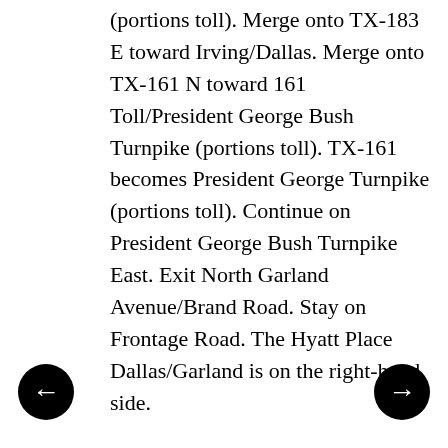(portions toll). Merge onto TX-183 E toward Irving/Dallas. Merge onto TX-161 N toward 161 Toll/President George Bush Turnpike (portions toll). TX-161 becomes President George Turnpike (portions toll). Continue on President George Bush Turnpike East. Exit North Garland Avenue/Brand Road. Stay on Frontage Road. The Hyatt Place Dallas/Garland is on the right-hand side.
Directions from Dallas Love Field Airport (DAL): Exit Dallas Love Field Airport traveling southeast on Cedar Springs Road towards Aviation Place. Turn left onto Mockingbird Lane. Turn left to take the Dallas North Tollway North (portions toll). Merge onto I-635E. Merge onto US 75N via Exit 19A towards